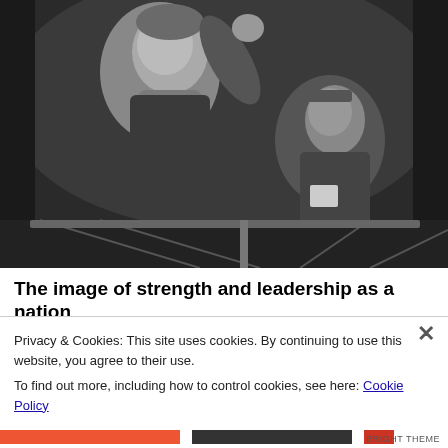[Figure (photo): Black and white photograph of two figures, one older man in the foreground appearing to speak or shout, with another figure behind him. They appear to be in some kind of vehicle or platform.]
The image of strength and leadership as a nation
Privacy & Cookies: This site uses cookies. By continuing to use this website, you agree to their use.
To find out more, including how to control cookies, see here: Cookie Policy
Close and accept